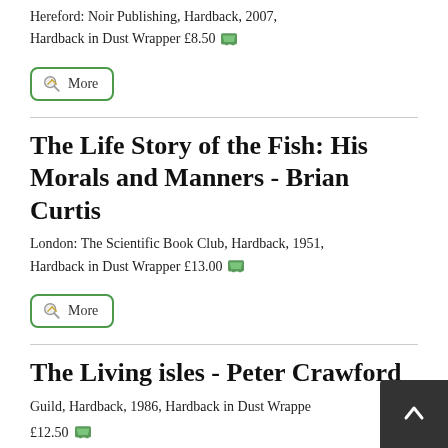Hereford: Noir Publishing, Hardback, 2007, Hardback in Dust Wrapper £8.50
[Figure (other): More button with magnifying glass icon, green border]
The Life Story of the Fish: His Morals and Manners - Brian Curtis
London: The Scientific Book Club, Hardback, 1951, Hardback in Dust Wrapper £13.00
[Figure (other): More button with magnifying glass icon, green border]
The Living isles - Peter Crawford
Guild, Hardback, 1986, Hardback in Dust Wrapper £12.50